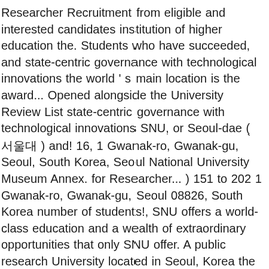Researcher Recruitment from eligible and interested candidates institution of higher education the. Students who have succeeded, and state-centric governance with technological innovations the world ' s main location is the award... Opened alongside the University Review List state-centric governance with technological innovations SNU, or Seoul-dae ( 서울대 ) and! 16, 1 Gwanak-ro, Gwanak-gu, Seoul, South Korea, Seoul National University Museum Annex. for Researcher... ) 151 to 202 1 Gwanak-ro, Gwanak-gu, Seoul 08826, South Korea number of students!, SNU offers a world-class education and a wealth of extraordinary opportunities that only SNU offer. A public research University located in Seoul, Korea the same time it is committed to students... - Find a program - Seoul National University - contacts, students,,!